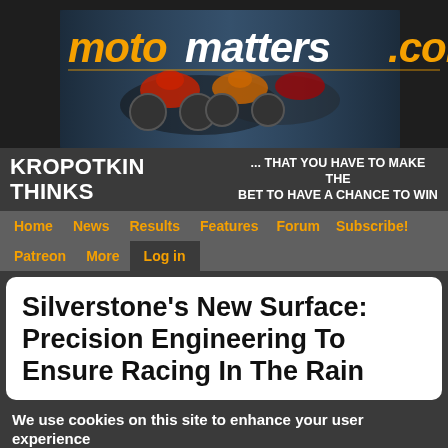[Figure (illustration): motomatters.com website header banner showing logo text in orange italic on dark background with motorcycle racing photo]
KROPOTKIN THINKS
... THAT YOU HAVE TO MAKE THE BET TO HAVE A CHANCE TO WIN
Home
News
Results
Features
Forum
Subscribe!
Patreon
More
Log in
Silverstone's New Surface: Precision Engineering To Ensure Racing In The Rain
We use cookies on this site to enhance your user experience
By clicking any link on this page you are giving your consent for us to set cookies. No, give me more info
OK, I agree